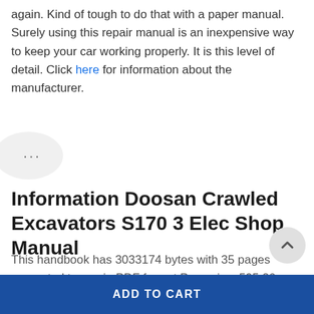again. Kind of tough to do that with a paper manual. Surely using this repair manual is an inexpensive way to keep your car working properly. It is this level of detail. Click here for information about the manufacturer.
Information Doosan Crawled Excavators S170 3 Elec Shop Manual
This handbook has 3033174 bytes with 35 pages presented to you in PDF format Page size: 595.26 x 841.86 pts (A4) (rotated 0 degrees). This manual can be viewed on any computer, as well as zoom (Take a closer look at the sample image for the most
ADD TO CART